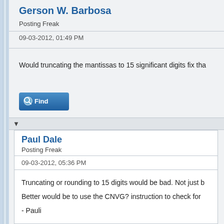Gerson W. Barbosa
Posting Freak
09-03-2012, 01:49 PM
Would truncating the mantissas to 15 significant digits fix tha
[Figure (screenshot): Find button with magnifying glass icon]
Paul Dale
Posting Freak
09-03-2012, 05:36 PM
Truncating or rounding to 15 digits would be bad. Not just b
Better would be to use the CNVG? instruction to check for
- Pauli